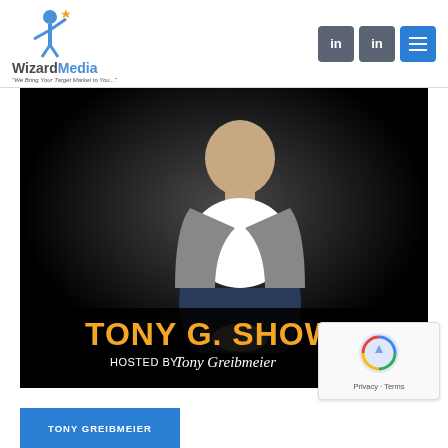[Figure (logo): WizardMedia logo with blue figure and tagline 'We Bring Your Target Market to You...']
[Figure (screenshot): Tony G. Show podcast cover image featuring a man in a grey blazer sitting, with orange text 'TONY G. SHOW' and 'HOSTED BY Tony Greibmeier' below]
TONY GREIBMEIER